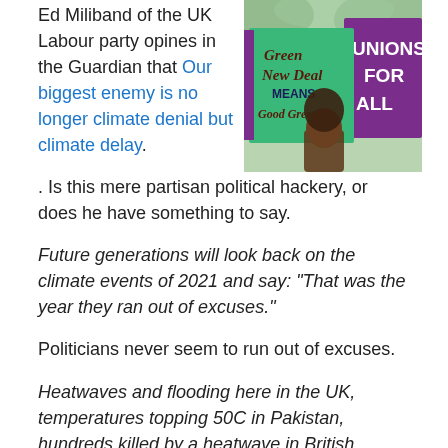Ed Miliband of the UK Labour party opines in the Guardian that Our biggest enemy is no longer climate denial but climate delay. Is this mere partisan political hackery, or does he have something to say.
[Figure (photo): Protesters holding signs including a green 'Green New Deal Means Good Green' sign and a purple 'Unions For All' sign at an outdoor rally.]
Future generations will look back on the climate events of 2021 and say: “That was the year they ran out of excuses.”
Politicians never seem to run out of excuses.
Heatwaves and flooding here in the UK, temperatures topping 50C in Pakistan, hundreds killed by a heatwave in British Columbia, deadly floods in Germany and China. All within a single month. Add to that the recent dire warning